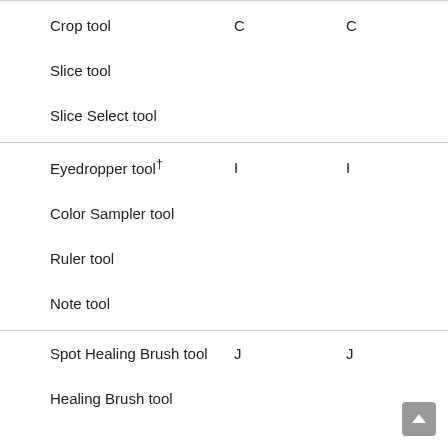| Tool | Shortcut (Windows) | Shortcut (Mac) |
| --- | --- | --- |
| Crop tool | C | C |
| Slice tool |  |  |
| Slice Select tool |  |  |
| Eyedropper tool† | I | I |
| Color Sampler tool |  |  |
| Ruler tool |  |  |
| Note tool |  |  |
| Spot Healing Brush tool | J | J |
| Healing Brush tool |  |  |